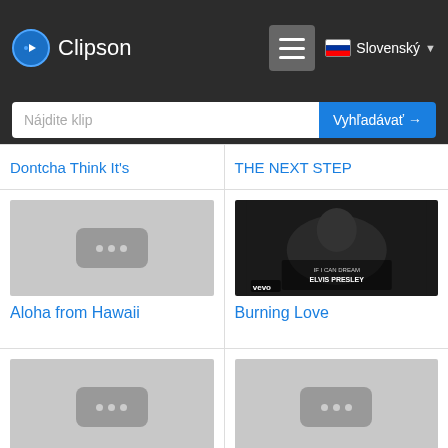Clipson
Nájdite klip
Vyhľadávať →
Slovenský
Dontcha Think It's
THE NEXT STEP
[Figure (screenshot): Thumbnail placeholder with three dots]
Aloha from Hawaii
[Figure (screenshot): Black and white Elvis Presley Vevo music video thumbnail with text 'If I Can Dream - Elvis Presley']
Burning Love
[Figure (screenshot): Thumbnail placeholder with three dots]
LOVE LETTERS
[Figure (screenshot): Thumbnail placeholder with three dots]
GREATEST HITS